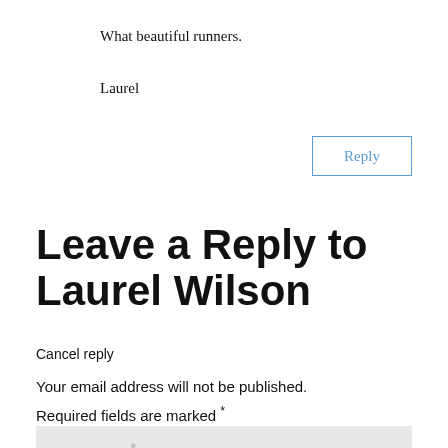What beautiful runners.
Laurel
Reply
Leave a Reply to Laurel Wilson
Cancel reply
Your email address will not be published.
Required fields are marked *
Comment *